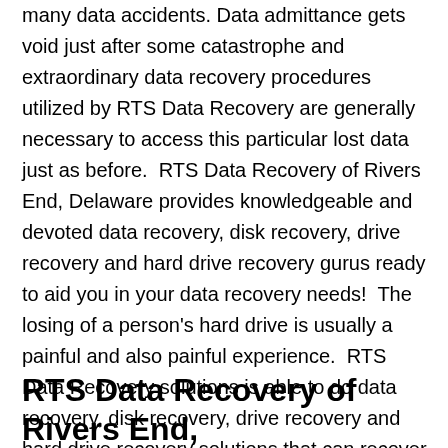many data accidents. Data admittance gets void just after some catastrophe and extraordinary data recovery procedures utilized by RTS Data Recovery are generally necessary to access this particular lost data just as before.  RTS Data Recovery of Rivers End, Delaware provides knowledgeable and devoted data recovery, disk recovery, drive recovery and hard drive recovery gurus ready to aid you in your data recovery needs!  The losing of a person's hard drive is usually a painful and also painful experience.  RTS Data Recovery solutions is able to do data recovery, disk recovery, drive recovery and hard drive recovery solutions that can recover irreplaceable computer files such as family images, tax and money details, work tasks or inventive writing data files.  Do not let your own memories change into just that – memories, telephone call RTS Data Recovery solutions of Rivers End, Delaware today to start out!
RTS Data Recovery of Rivers End,